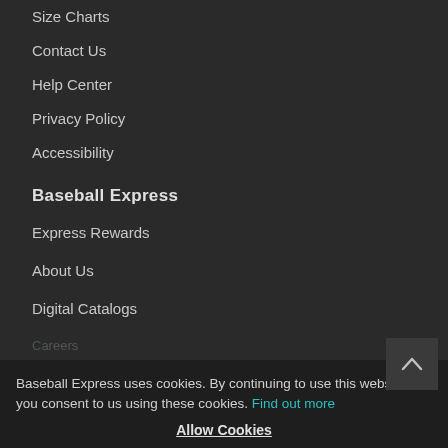Size Charts
Contact Us
Help Center
Privacy Policy
Accessibility
Baseball Express
Express Rewards
About Us
Digital Catalogs
Careers
Affiliates
Store Location
Baseball Express uses cookies. By continuing to use this website, you consent to us using these cookies. Find out more
Allow Cookies